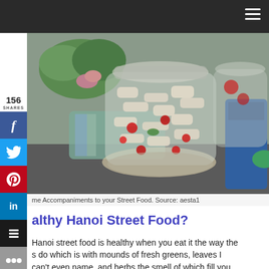Navigation bar with hamburger menu
[Figure (photo): Glass jar filled with pickled vegetables including white pieces and red cherry tomatoes, with plants and another jar visible in the background on a dark surface]
me Accompaniments to your Street Food. Source: aesta1
althy Hanoi Street Food?
Hanoi street food is healthy when you eat it the way the s do which is with mounds of fresh greens, leaves I can't even name, and herbs the smell of which fill you